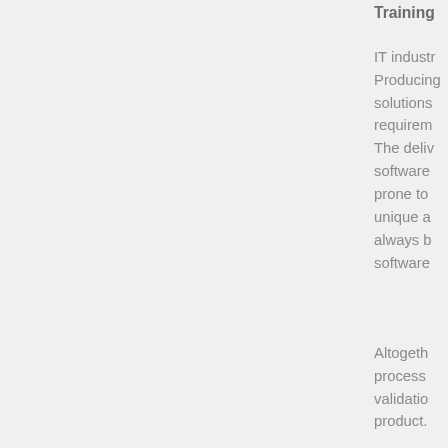Training
IT industr Producing solutions requirem The deliv software prone to unique a always b software
Altogeth process validatio product.